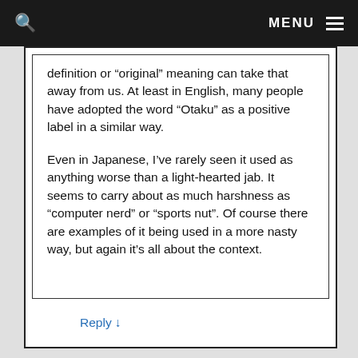MENU
definition or "original" meaning can take that away from us. At least in English, many people have adopted the word “Otaku” as a positive label in a similar way.
Even in Japanese, I’ve rarely seen it used as anything worse than a light-hearted jab. It seems to carry about as much harshness as “computer nerd” or “sports nut”. Of course there are examples of it being used in a more nasty way, but again it’s all about the context.
Reply ↓